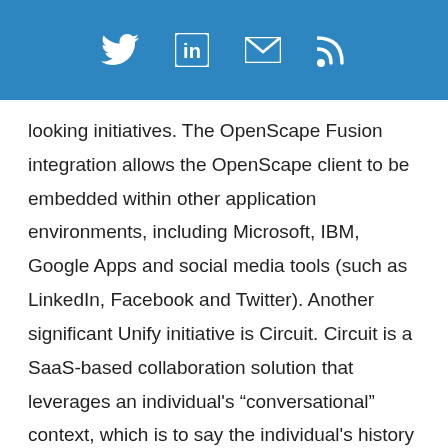[Figure (other): Social media icon bar with Twitter, LinkedIn, email, and RSS feed icons on a blue background]
looking initiatives. The OpenScape Fusion integration allows the OpenScape client to be embedded within other application environments, including Microsoft, IBM, Google Apps and social media tools (such as LinkedIn, Facebook and Twitter). Another significant Unify initiative is Circuit. Circuit is a SaaS-based collaboration solution that leverages an individual’s “conversational” context, which is to say the individual’s history of communication and conferencing activities, as well as topics that have